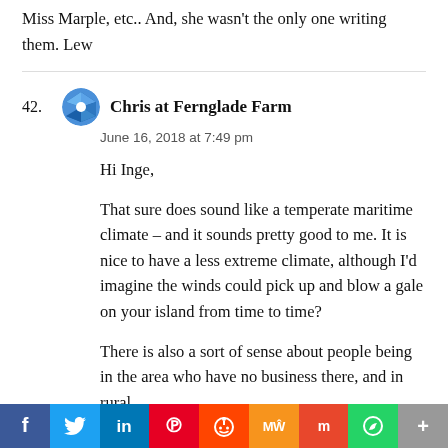Miss Marple, etc.. And, she wasn't the only one writing them. Lew
42. Chris at Fernglade Farm
June 16, 2018 at 7:49 pm

Hi Inge,

That sure does sound like a temperate maritime climate – and it sounds pretty good to me. It is nice to have a less extreme climate, although I'd imagine the winds could pick up and blow a gale on your island from time to time?

There is also a sort of sense about people being in the area who have no business there, and in rural
f  Twitter  in  Pinterest  Reddit  MW  Mix  WhatsApp  More